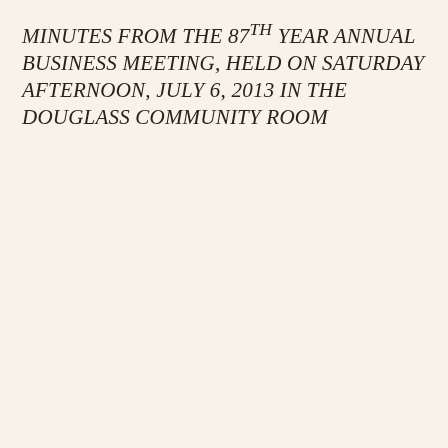MINUTES FROM THE 87TH YEAR ANNUAL BUSINESS MEETING, HELD ON SATURDAY AFTERNOON, JULY 6, 2013 IN THE DOUGLASS COMMUNITY ROOM